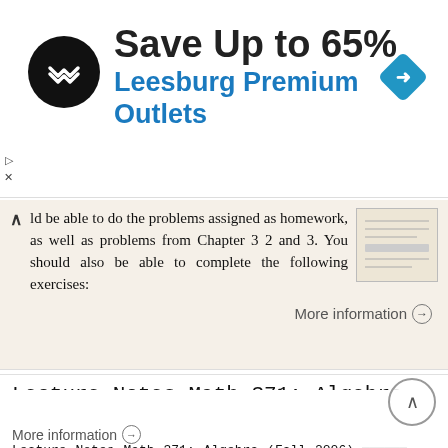[Figure (logo): Advertisement banner: Save Up to 65% Leesburg Premium Outlets with logo and navigation icon]
ld be able to do the problems assigned as homework, as well as problems from Chapter 3 2 and 3. You should also be able to complete the following exercises:
More information
Lecture Notes Math 371: Algebra (Fall 2006) by Nathanael Leedom Ackerman
Lecture Notes Math 371: Algebra (Fall 2006) by Nathanael Leedom Ackerman October 17, 2006 TALK SLOWLY AND WRITE NEATLY!! 1 0.1 Integral Domains and Fraction Fields 0.1.1 Theorems Now what we are going
More information